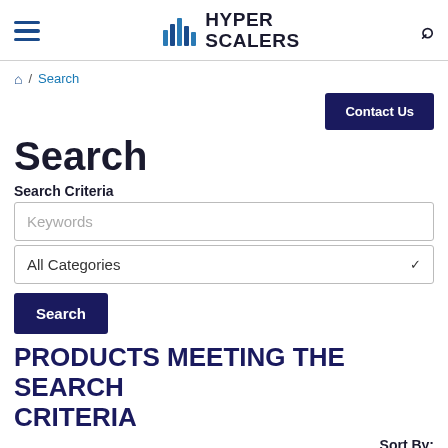HYPER SCALERS
Home / Search
Contact Us
Search
Search Criteria
Keywords
All Categories
Search
PRODUCTS MEETING THE SEARCH CRITERIA
Sort By:
Default